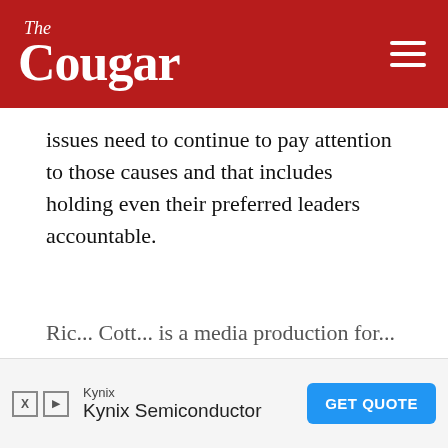The Cougar
issues need to continue to pay attention to those causes and that includes holding even their preferred leaders accountable.
Ric... Cott... is a media production for...
[Figure (other): Advertisement banner: Kynix Semiconductor with GET QUOTE button]